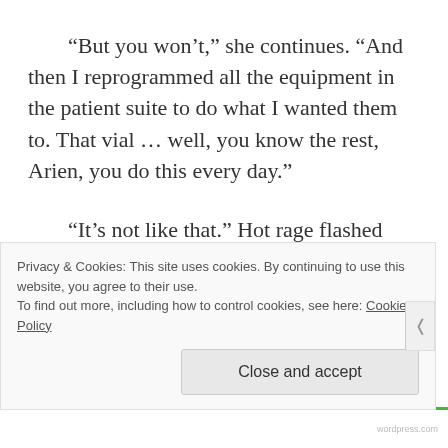“But you won’t,” she continues. “And then I reprogrammed all the equipment in the patient suite to do what I wanted them to. That vial … well, you know the rest, Arien, you do this every day.”
“It’s not like that.” Hot rage flashed inside Arien’s chest, but it quickly cooled. His voice shook slightly. “We allow our patients to die with dignity. It’s their choice. They would suffer too much if they lived. Don’t you get it? It would be cruel to make them live. I’m
Privacy & Cookies: This site uses cookies. By continuing to use this website, you agree to their use.
To find out more, including how to control cookies, see here: Cookie Policy